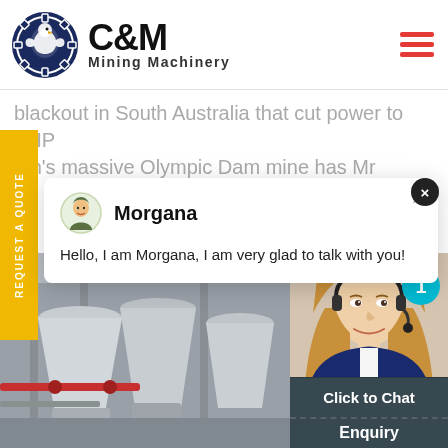[Figure (logo): C&M Mining Machinery logo with eagle/gear icon in dark blue circle and bold text]
blackout in South Australia that cut power to BHP
ton's massive Olympic Dam mine has Mr
REQUEST A QUOTE
[Figure (screenshot): Chat popup with avatar of Morgana, name 'Morgana', and message 'Hello, I am Morgana, I am very glad to talk with you!']
[Figure (photo): Industrial mining machinery equipment in grayscale]
[Figure (photo): Female customer service agent with headset smiling, with teal notification badge showing '1']
Click to Chat
Enquiry